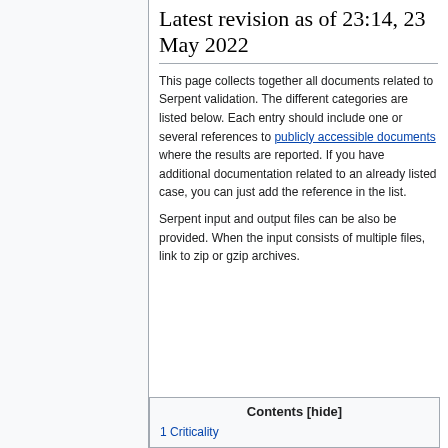Latest revision as of 23:14, 23 May 2022
This page collects together all documents related to Serpent validation. The different categories are listed below. Each entry should include one or several references to publicly accessible documents where the results are reported. If you have additional documentation related to an already listed case, you can just add the reference in the list.
Serpent input and output files can be also be provided. When the input consists of multiple files, link to zip or gzip archives.
Contents [hide]
1 Criticality